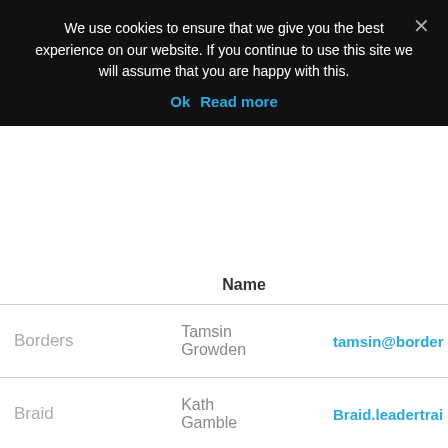We use cookies to ensure that we give you the best experience on our website. If you continue to use this site we will assume that you are happy with this.
Ok   Read more
|  | Name |  |
| --- | --- | --- |
| Borders | Tamsin Growden | tamsin@border… |
| Braid | Kath Gamble | Braid.leadertrai… |
| Craigalmond | Brian Donoghue | brian.donoghue… |
| East Lothian | Rosemary Laird |  |
| Edinburgh | Vince | training@enesc… |